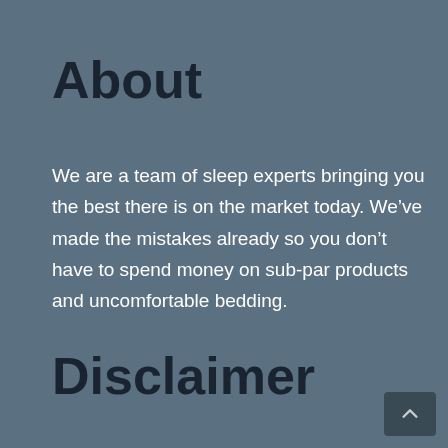About
We are a team of sleep experts bringing you the best there is on the market today. We’ve made the mistakes already so you don’t have to spend money on sub-par products and uncomfortable bedding.
Disclaimer
While we make every effort possible to keep the information on this site correct and up to date, we make no warranties or representations of any kind. Please see our full disclosure. As Amazon Associates, we earn